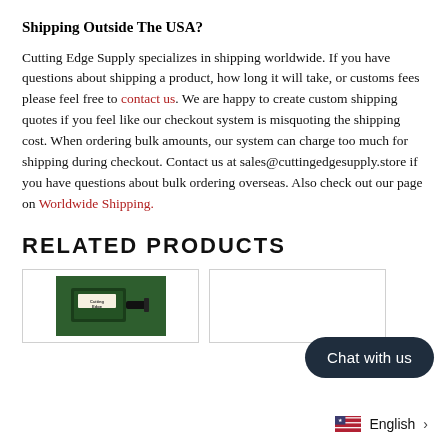Shipping Outside The USA?
Cutting Edge Supply specializes in shipping worldwide. If you have questions about shipping a product, how long it will take, or customs fees please feel free to contact us. We are happy to create custom shipping quotes if you feel like our checkout system is misquoting the shipping cost. When ordering bulk amounts, our system can charge too much for shipping during checkout. Contact us at sales@cuttingedgesupply.store if you have questions about bulk ordering overseas. Also check out our page on Worldwide Shipping.
RELATED PRODUCTS
[Figure (photo): Product card showing a green product (left card)]
[Figure (photo): Product card (right card, partially visible)]